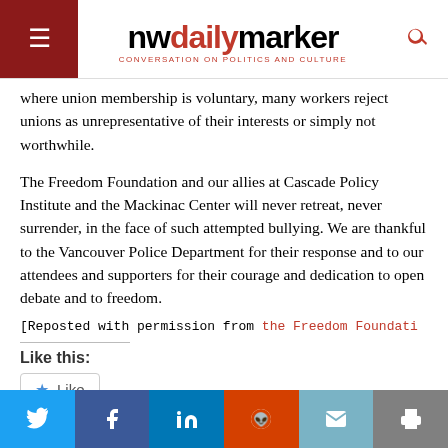nwdailymarker — CONVERSATION ON POLITICS AND CULTURE
where union membership is voluntary, many workers reject unions as unrepresentative of their interests or simply not worthwhile.
The Freedom Foundation and our allies at Cascade Policy Institute and the Mackinac Center will never retreat, never surrender, in the face of such attempted bullying. We are thankful to the Vancouver Police Department for their response and to our attendees and supporters for their courage and dedication to open debate and to freedom.
[Reposted with permission from the Freedom Foundati
Like this:
Be the first to like this.